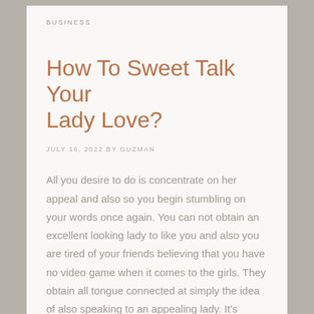BUSINESS
How To Sweet Talk Your Lady Love?
JULY 16, 2022 BY GUZMAN
All you desire to do is concentrate on her appeal and also so you begin stumbling on your words once again. You can not obtain an excellent looking lady to like you and also you are tired of your friends believing that you have no video game when it comes to the girls. They obtain all tongue connected at simply the idea of also speaking to an appealing lady. It's difficult sufficient